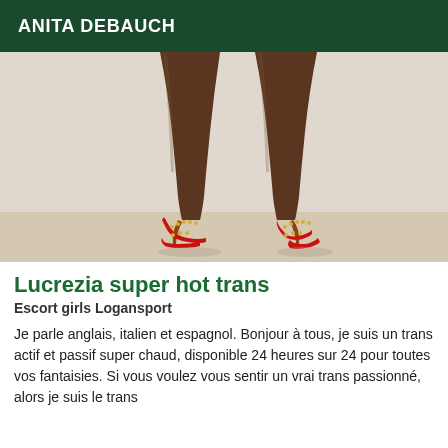ANITA DEBAUCH
[Figure (photo): Photo showing legs of a person wearing red studded high heel shoes, standing against a light background. Only legs from mid-thigh down are visible.]
Lucrezia super hot trans
Escort girls Logansport
Je parle anglais, italien et espagnol. Bonjour à tous, je suis un trans actif et passif super chaud, disponible 24 heures sur 24 pour toutes vos fantaisies. Si vous voulez vous sentir un vrai trans passionné, alors je suis le trans